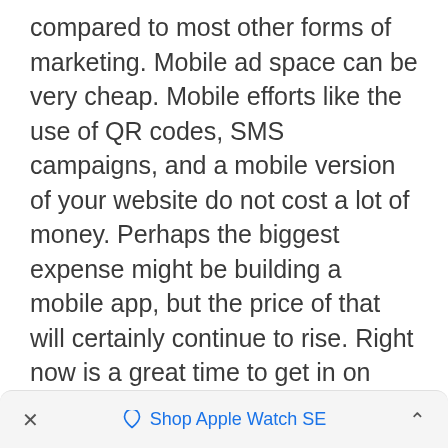compared to most other forms of marketing. Mobile ad space can be very cheap. Mobile efforts like the use of QR codes, SMS campaigns, and a mobile version of your website do not cost a lot of money. Perhaps the biggest expense might be building a mobile app, but the price of that will certainly continue to rise. Right now is a great time to get in on mobile marketing. The low cost can mean a much greater return on investment with a successful strategy.
× ♡ Shop Apple Watch SE ^